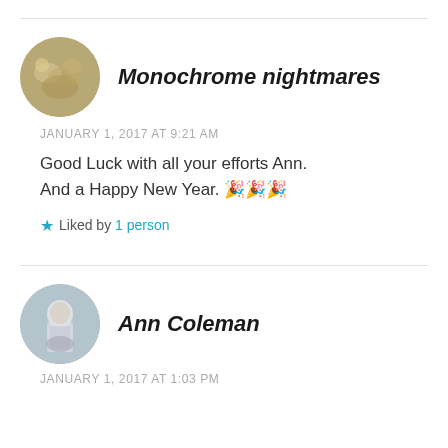Monochrome nightmares
JANUARY 1, 2017 AT 9:21 AM
Good Luck with all your efforts Ann. And a Happy New Year. 🎉🎉🎉
★ Liked by 1 person
Ann Coleman
JANUARY 1, 2017 AT 1:03 PM